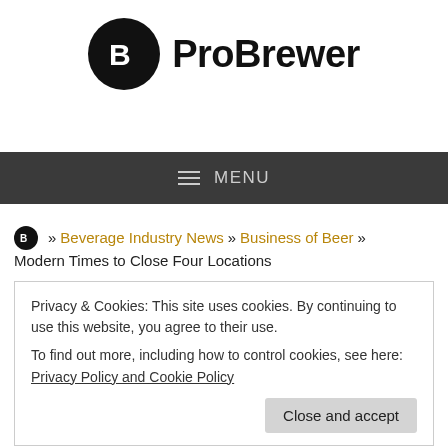[Figure (logo): ProBrewer logo: black circle with white stylized 'B' letter, followed by 'ProBrewer' in bold black text]
≡ MENU
🅑 » Beverage Industry News » Business of Beer » Modern Times to Close Four Locations
Privacy & Cookies: This site uses cookies. By continuing to use this website, you agree to their use.
To find out more, including how to control cookies, see here: Privacy Policy and Cookie Policy
Close and accept
Modern Times Beer of San Diego announced today in a